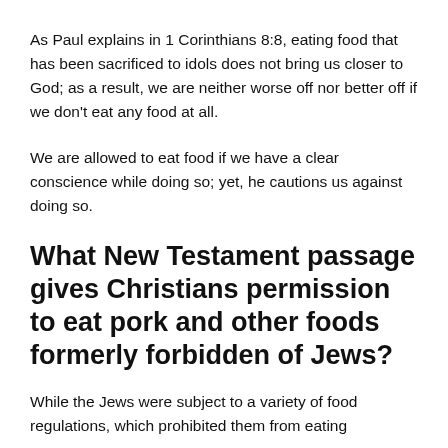As Paul explains in 1 Corinthians 8:8, eating food that has been sacrificed to idols does not bring us closer to God; as a result, we are neither worse off nor better off if we don't eat any food at all.
We are allowed to eat food if we have a clear conscience while doing so; yet, he cautions us against doing so.
What New Testament passage gives Christians permission to eat pork and other foods formerly forbidden of Jews?
While the Jews were subject to a variety of food regulations, which prohibited them from eating certain food (for example, pork), Christians...